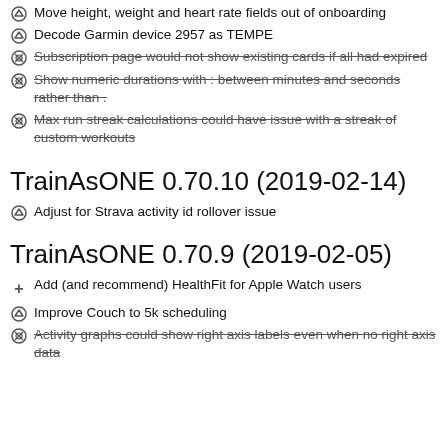Move height, weight and heart rate fields out of onboarding
Decode Garmin device 2957 as TEMPE
Subscription page would not show existing cards if all had expired (strikethrough)
Show numeric durations with : between minutes and seconds rather than . (strikethrough)
Max run streak calculations could have issue with a streak of custom workouts (strikethrough)
TrainAsONE 0.70.10 (2019-02-14)
Adjust for Strava activity id rollover issue
TrainAsONE 0.70.9 (2019-02-05)
Add (and recommend) HealthFit for Apple Watch users
Improve Couch to 5k scheduling
Activity graphs could show right axis labels even when no right axis data (strikethrough)